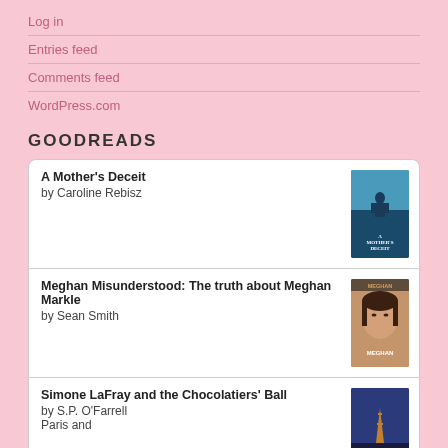Log in
Entries feed
Comments feed
WordPress.com
GOODREADS
A Mother's Deceit
by Caroline Rebisz
Meghan Misunderstood: The truth about Meghan Markle
by Sean Smith
Simone LaFray and the Chocolatiers' Ball
by S.P. O'Farrell
Paris and
Apples and Angel Wings
by Katie Mettner